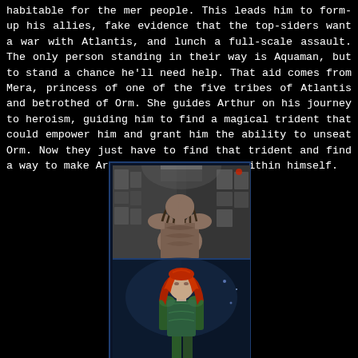habitable for the mer people. This leads him to form-up his allies, fake evidence that the top-siders want a war with Atlantis, and lunch a full-scale assault. The only person standing in their way is Aquaman, but to stand a chance he'll need help. That aid comes from Mera, princess of one of the five tribes of Atlantis and betrothed of Orm. She guides Arthur on his journey to heroism, guiding him to find a magical trident that could empower him and grant him the ability to unseat Orm. Now they just have to find that trident and find a way to make Arthur accept the hero within himself.
[Figure (photo): Two stacked movie stills from Aquaman. Top image: a muscular man with long dreadlocks (Jason Momoa as Aquaman) viewed from behind in a high-tech interior setting. Bottom image: a woman with long red hair wearing a green armored costume (Amber Heard as Mera) standing in a dim blue-lit environment.]